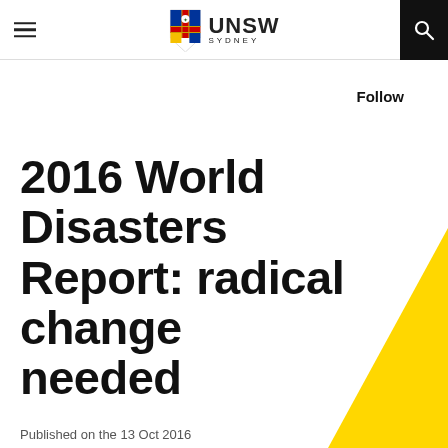UNSW Sydney
Follow
2016 World Disasters Report: radical change needed
Published on the 13 Oct 2016